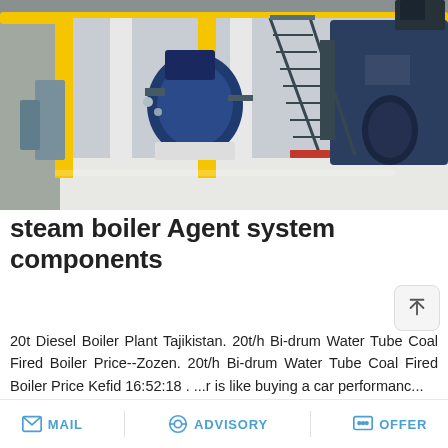[Figure (photo): Industrial boiler room with large blue steam boilers, yellow overhead pipes and columns, metal staircases, and white concrete floors in a factory setting]
steam boiler Agent system components
20t Diesel Boiler Plant Tajikistan. 20t/h Bi-drum Water Tube Coal Fired Boiler Price--Zozen. 20t/h Bi-drum Water Tube Coal Fired Boiler Price Kefid 16:52:18 . ...r is like buying a car performanc...
[Figure (screenshot): WhatsApp sticker save banner overlay with purple/pink gradient background, showing WhatsApp and messaging app icons]
MAIL   ADVISORY   OFFER